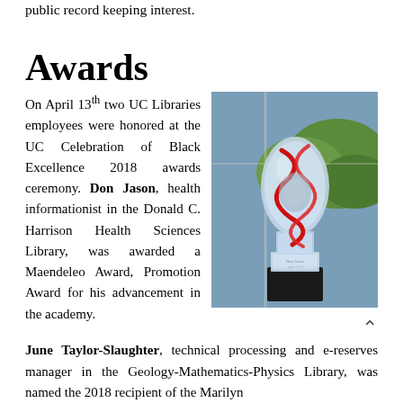public record keeping interest.
Awards
On April 13th two UC Libraries employees were honored at the UC Celebration of Black Excellence 2018 awards ceremony. Don Jason, health informationist in the Donald C. Harrison Health Sciences Library, was awarded a Maendeleo Award, Promotion Award for his advancement in the academy.
[Figure (photo): A glass crystal award trophy with an egg-shaped top piece featuring a red ribbon/DNA helix design, sitting on a square crystal base, placed near a window with trees visible in the background.]
June Taylor-Slaughter, technical processing and e-reserves manager in the Geology-Mathematics-Physics Library, was named the 2018 recipient of the Marilyn